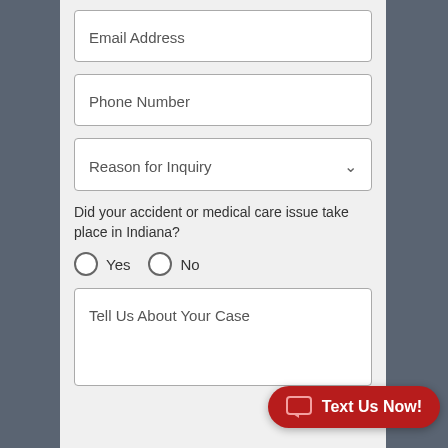Email Address
Phone Number
Reason for Inquiry
Did your accident or medical care issue take place in Indiana?
Yes
No
Tell Us About Your Case
Text Us Now!